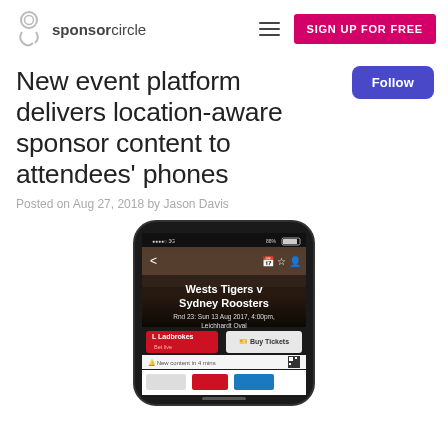sponsorcircle | SIGN UP FOR FREE
New event platform delivers location-aware sponsor content to attendees' phones
Posted on Aug 27, 2018 by Jason Davis
[Figure (screenshot): Mobile phone screenshot showing a sports event app for Wests Tigers v Sydney Roosters, Rnd 23: Sun 13 Aug 2017, 4:00pm, Leichhardt Oval, with Ladbrokes and Buy Tickets buttons]